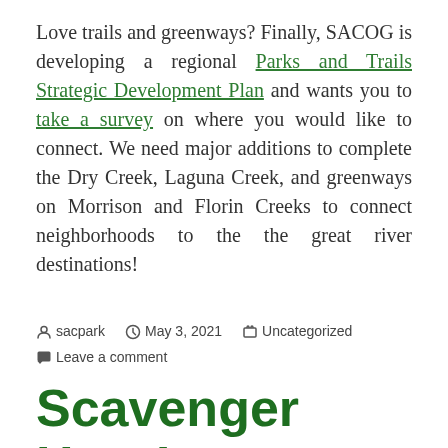Love trails and greenways? Finally, SACOG is developing a regional Parks and Trails Strategic Development Plan and wants you to take a survey on where you would like to connect. We need major additions to complete the Dry Creek, Laguna Creek, and greenways on Morrison and Florin Creeks to connect neighborhoods to the the great river destinations!
sacpark  May 3, 2021  Uncategorized  Leave a comment
Scavenger Hunt!